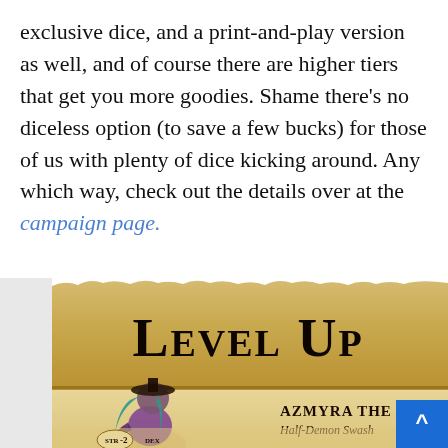exclusive dice, and a print-and-play version as well, and of course there are higher tiers that get you more goodies. Shame there's no diceless option (to save a few bucks) for those of us with plenty of dice kicking around. Any which way, check out the details over at the campaign page.
[Figure (illustration): A game card/banner showing 'Level Up' in decorative blackletter font on a parchment-colored banner background with torn edges, and below it a fantasy character illustration of Azmyra The Half-Demon Swashbuckler with teal hair, wearing a hat and purple outfit, alongside a character stat block showing STR -2 and DEX stats on a parchment background.]